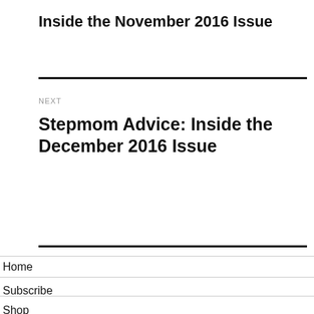Inside the November 2016 Issue
NEXT
Stepmom Advice: Inside the December 2016 Issue
Home
Subscribe
Shop